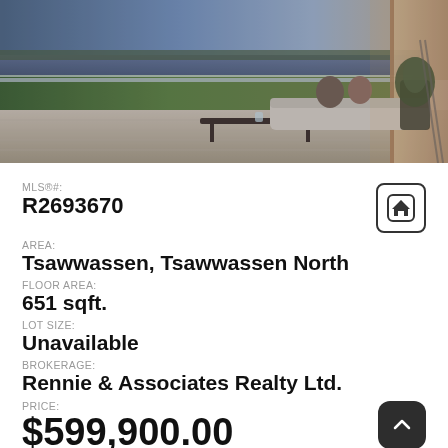[Figure (photo): Interior/exterior lifestyle photo showing a couple relaxing on a modern waterfront deck/balcony with ocean and green lawn views at dusk]
MLS®#:
R2693670
AREA:
Tsawwassen, Tsawwassen North
FLOOR AREA:
651 sqft.
LOT SIZE:
Unavailable
BROKERAGE:
Rennie & Associates Realty Ltd.
PRICE:
$599,900.00